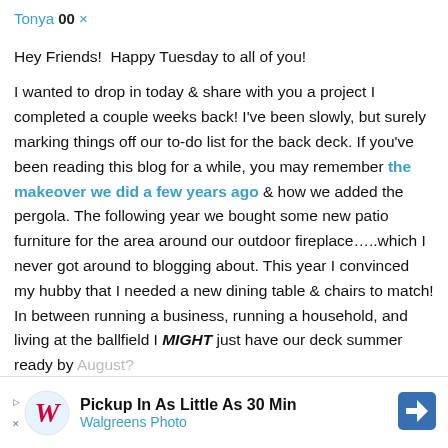Tonya 00 ×
Hey Friends!  Happy Tuesday to all of you!
I wanted to drop in today & share with you a project I completed a couple weeks back! I've been slowly, but surely marking things off our to-do list for the back deck. If you've been reading this blog for a while, you may remember the makeover we did a few years ago & how we added the pergola. The following year we bought some new patio furniture for the area around our outdoor fireplace…..which I never got around to blogging about. This year I convinced my hubby that I needed a new dining table & chairs to match! In between running a business, running a household, and living at the ballfield I MIGHT just have our deck summer ready by August?
[Figure (other): Walgreens Photo advertisement banner: Pickup In As Little As 30 Min, Walgreens Photo]